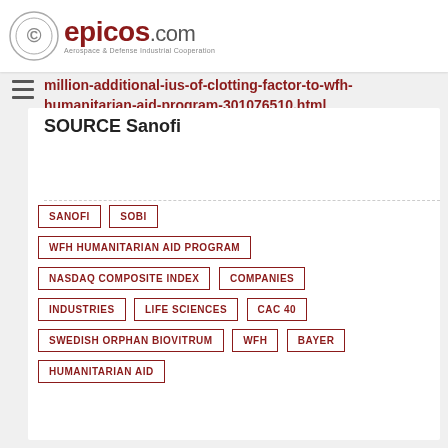[Figure (logo): epicos.com logo with circular arrow icon and tagline 'Aerospace & Defense Industrial Cooperation']
million-additional-ius-of-clotting-factor-to-wfh-humanitarian-aid-program-301076510.html
SOURCE Sanofi
SANOFI
SOBI
WFH HUMANITARIAN AID PROGRAM
NASDAQ COMPOSITE INDEX
COMPANIES
INDUSTRIES
LIFE SCIENCES
CAC 40
SWEDISH ORPHAN BIOVITRUM
WFH
BAYER
HUMANITARIAN AID